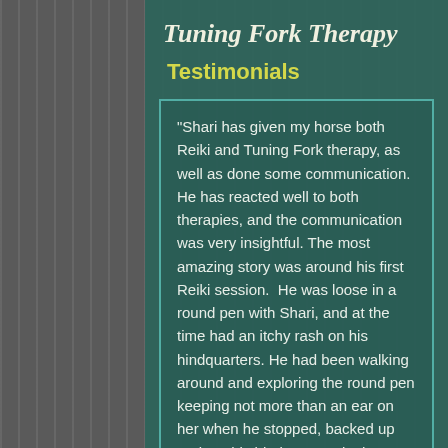Tuning Fork Therapy
Testimonials
"Shari has given my horse both Reiki and Tuning Fork therapy, as well as done some communication. He has reacted well to both therapies, and the communication was very insightful. The most amazing story was around his first Reiki session.  He was loose in a round pen with Shari, and at the time had an itchy rash on his hindquarters. He had been walking around and exploring the round pen keeping not more than an ear on her when he stopped, backed up and put his hindquarters in the space between her hands. This horse is not one to enjoy, never mind ask for, any extra attention to his hindquarters due to extensive